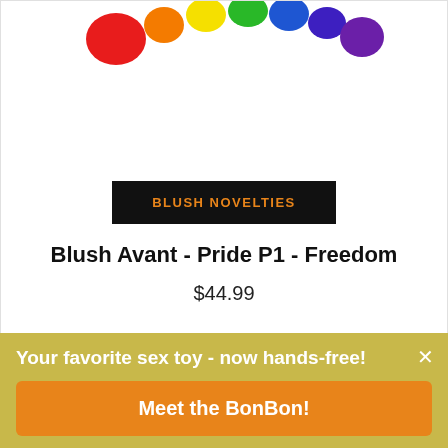[Figure (photo): Rainbow-colored curved adult toy product photo on white background]
[Figure (logo): Blush Novelties brand badge — black rectangle with orange uppercase text 'BLUSH NOVELTIES']
Blush Avant - Pride P1 - Freedom
$44.99
Your favorite sex toy - now hands-free!
Meet the BonBon!